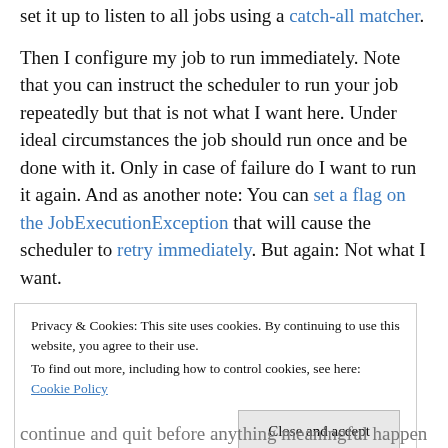set it up to listen to all jobs using a catch-all matcher.
Then I configure my job to run immediately. Note that you can instruct the scheduler to run your job repeatedly but that is not what I want here. Under ideal circumstances the job should run once and be done with it. Only in case of failure do I want to run it again. And as another note: You can set a flag on the JobExecutionException that will cause the scheduler to retry immediately. But again: Not what I want.
Privacy & Cookies: This site uses cookies. By continuing to use this website, you agree to their use. To find out more, including how to control cookies, see here: Cookie Policy
continue and quit before anything meaningful happens